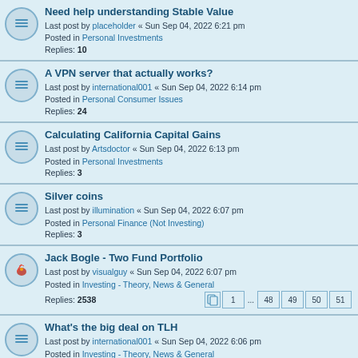Need help understanding Stable Value
Last post by placeholder « Sun Sep 04, 2022 6:21 pm
Posted in Personal Investments
Replies: 10
A VPN server that actually works?
Last post by international001 « Sun Sep 04, 2022 6:14 pm
Posted in Personal Consumer Issues
Replies: 24
Calculating California Capital Gains
Last post by Artsdoctor « Sun Sep 04, 2022 6:13 pm
Posted in Personal Investments
Replies: 3
Silver coins
Last post by illumination « Sun Sep 04, 2022 6:07 pm
Posted in Personal Finance (Not Investing)
Replies: 3
Jack Bogle - Two Fund Portfolio
Last post by visualguy « Sun Sep 04, 2022 6:07 pm
Posted in Investing - Theory, News & General
Replies: 2538
Pages: 1 ... 48 49 50 51
What's the big deal on TLH
Last post by international001 « Sun Sep 04, 2022 6:06 pm
Posted in Investing - Theory, News & General
Replies: 122
Pages: 1 2 3
Can I retire Early (If Forced)?
Last post by quattro73 « Sun Sep 04, 2022 6:05 pm
Posted in Personal Investments
Replies: 58
Pages: 1 2